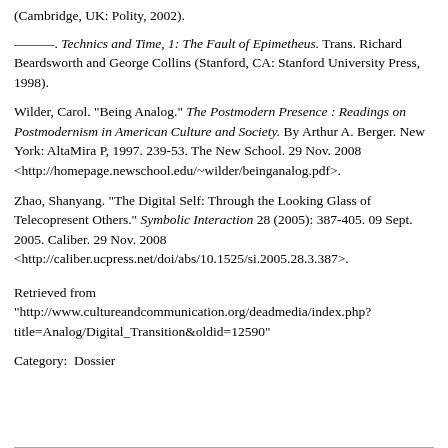(Cambridge, UK: Polity, 2002).
———. Technics and Time, 1: The Fault of Epimetheus. Trans. Richard Beardsworth and George Collins (Stanford, CA: Stanford University Press, 1998).
Wilder, Carol. "Being Analog." The Postmodern Presence : Readings on Postmodernism in American Culture and Society. By Arthur A. Berger. New York: AltaMira P, 1997. 239-53. The New School. 29 Nov. 2008 <http://homepage.newschool.edu/~wilder/beinganalog.pdf>.
Zhao, Shanyang. "The Digital Self: Through the Looking Glass of Telecopresent Others." Symbolic Interaction 28 (2005): 387-405. 09 Sept. 2005. Caliber. 29 Nov. 2008 <http://caliber.ucpress.net/doi/abs/10.1525/si.2005.28.3.387>.
Retrieved from "http://www.cultureandcommunication.org/deadmedia/index.php?title=Analog/Digital_Transition&oldid=12590"
Category:  Dossier